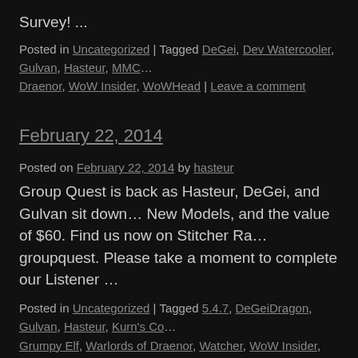Survey! ...
Posted in Uncategorized | Tagged DeGei, Dev Watercooler, Gulvan, Hasteur, MMC... Draenor, WoW Insider, WoWHead | Leave a comment
February 22, 2014
Posted on February 22, 2014 by hasteur
Group Quest is back as Hasteur, DeGei, and Gulvan sit down... New Models, and the value of $60. Find us now on Stitcher Ra... groupquest. Please take a moment to complete our Listener ...
Posted in Uncategorized | Tagged 5.4.7, DeGeiDragon, Gulvan, Hasteur, Kurn's Co... Grumpy Elf, Warlords of Draenor, Watcher, WoW Insider, WoWHead | Leave a com...
December 7, 2013
Posted on December 7, 2013 by hasteur
Group Quest is back as Hasteur, DeGei, and Gulvan sit down... Karazhan, Bucket Lists, Streaming, and more. Find us now on... the code groupquest. Please take a moment to complete our L...